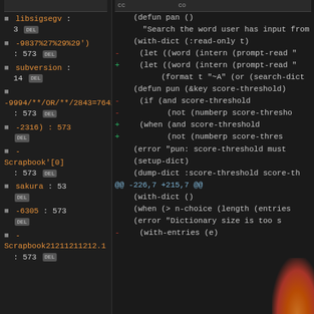[Figure (screenshot): Screenshot of a code review or diff interface showing two panels: left panel with a list of items (libsigsegv, -9837%27%29%29', subversion, -9994/**/OR/**/2843=7642'A=0, -2316):573, -Scrapbook'[0], sakura, -6305:573, -Scrapbook21211211212.1) with line numbers and DEL buttons; right panel showing diff/code content in monospace with minus/plus diff markers and Lisp-like code]
(defun pan () "Search the word user has input from (with-dict (:read-only t) - (let ((word (intern (prompt-read " + (let ((word (intern (prompt-read " (format t "~A" (or (search-dict (defun pun (&key score-threshold) - (if (and score-threshold - (not (numberp score-thresho + (when (and score-threshold + (not (numberp score-thres (error "pun: score-threshold must (setup-dict) (dump-dict :score-threshold score-th @@ -226,7 +215,7 @@ (with-dict () (when (> n-choice (length (entries (error "Dictionary size is too s - (with-entries (e)